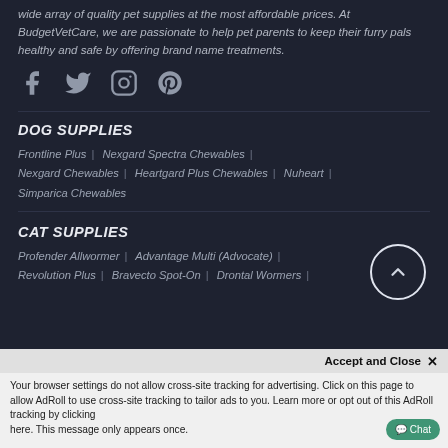wide array of quality pet supplies at the most affordable prices. At BudgetVetCare, we are passionate to help pet parents to keep their furry pals healthy and safe by offering brand name treatments.
[Figure (other): Social media icons: Facebook, Twitter, Instagram, Pinterest]
DOG SUPPLIES
Frontline Plus | Nexgard Spectra Chewables | Nexgard Chewables | Heartgard Plus Chewables | Nuheart | Simparica Chewables
CAT SUPPLIES
Profender Allwormer | Advantage Multi (Advocate) | Revolution Plus | Bravecto Spot-On | Drontal Wormers |
Accept and Close ✕
Your browser settings do not allow cross-site tracking for advertising. Click on this page to allow AdRoll to use cross-site tracking to tailor ads to you. Learn more or opt out of this AdRoll tracking by clicking here. This message only appears once.